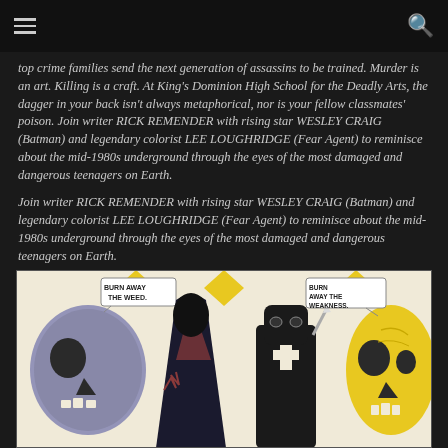≡  🔍
top crime families send the next generation of assassins to be trained. Murder is an art. Killing is a craft. At King's Dominion High School for the Deadly Arts, the dagger in your back isn't always metaphorical, nor is your fellow classmates' poison. Join writer RICK REMENDER with rising star WESLEY CRAIG (Batman) and legendary colorist LEE LOUGHRIDGE (Fear Agent) to reminisce about the mid-1980s underground through the eyes of the most damaged and dangerous teenagers on Earth.
Join writer RICK REMENDER with rising star WESLEY CRAIG (Batman) and legendary colorist LEE LOUGHRIDGE (Fear Agent) to reminisce about the mid-1980s underground through the eyes of the most damaged and dangerous teenagers on Earth.
[Figure (illustration): Comic book panel showing stylized character faces/skulls. Left: a gray/blue skull-like face. Center-left: a dark cloaked figure. Center: a figure in black with a cross. Right: a yellow skull face. Speech bubbles read 'BURN AWAY THE WEED.' and 'BURN AWAY THE WEAKNESS.' Yellow diamond shapes appear at the top.]